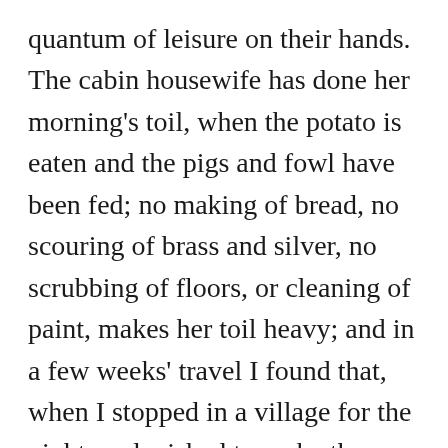quantum of leisure on their hands. The cabin housewife has done her morning's toil, when the potato is eaten and the pigs and fowl have been fed; no making of bread, no scouring of brass and silver, no scrubbing of floors, or cleaning of paint, makes her toil heavy; and in a few weeks' travel I found that, when I stopped in a village for the night, and wished to make the most of my visit, nothing was necessary but to call at some cabin, tell them I was an American, and had come to see the poor, and ask them to direct me to a good lodging house. This was electricity itself; all and everything that could be done would be, and by the time the lodging house was found, the fame had